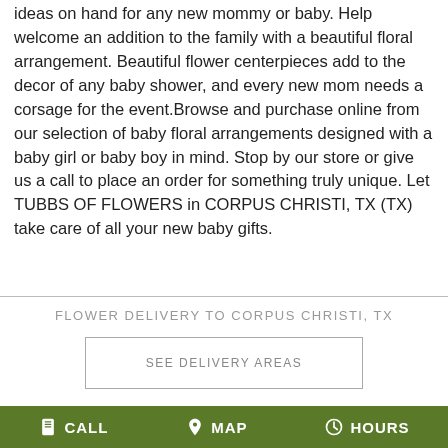ideas on hand for any new mommy or baby. Help welcome an addition to the family with a beautiful floral arrangement. Beautiful flower centerpieces add to the decor of any baby shower, and every new mom needs a corsage for the event.Browse and purchase online from our selection of baby floral arrangements designed with a baby girl or baby boy in mind. Stop by our store or give us a call to place an order for something truly unique. Let TUBBS OF FLOWERS in CORPUS CHRISTI, TX (TX) take care of all your new baby gifts.
FLOWER DELIVERY TO CORPUS CHRISTI, TX
SEE DELIVERY AREAS
ABOUT US
CALL  MAP  HOURS